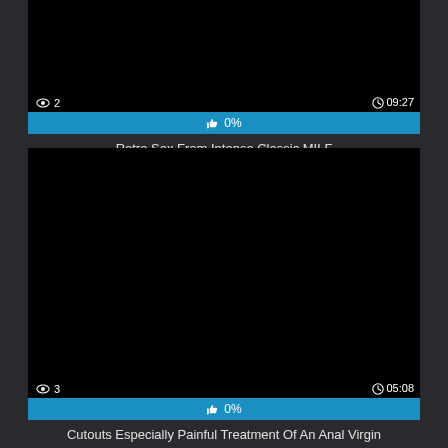[Figure (screenshot): Video thumbnail - black/dark image with view count '2' and duration '09:27']
👍 0%
Retro Sex From Intense Classic MILF
[Figure (screenshot): Video thumbnail - black/dark image with view count '3' and duration '05:08']
👍 0%
Cutouts Especially Painful Treatment Of An Anal Virgin